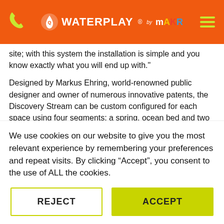[Figure (logo): Waterplay by Makr logo with orange header bar, phone icon (green), hamburger menu (green lines)]
site; with this system the installation is simple and you know exactly what you will end up with."
Designed by Markus Ehring, world-renowned public designer and owner of numerous innovative patents, the Discovery Stream can be custom configured for each space using four segments; a spring, ocean bed and two interlinking bend sections. Truly modular, the bends can be placed in configurations from 14 feet (427 cm) and longer. The spring, placed at the beginning, is designed to feed water into the stream, and the ocean, placed at the end, is designed to collect and drain the water away
We use cookies on our website to give you the most relevant experience by remembering your preferences and repeat visits. By clicking “Accept”, you consent to the use of ALL the cookies.